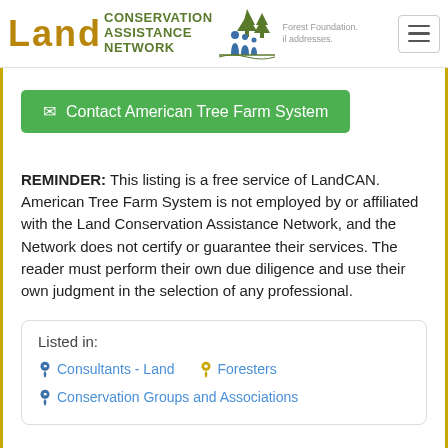Land Conservation Assistance Network header with logo and navigation
Contact American Tree Farm System
REMINDER: This listing is a free service of LandCAN. American Tree Farm System is not employed by or affiliated with the Land Conservation Assistance Network, and the Network does not certify or guarantee their services. The reader must perform their own due diligence and use their own judgment in the selection of any professional.
Listed in:
Consultants - Land
Foresters
Conservation Groups and Associations